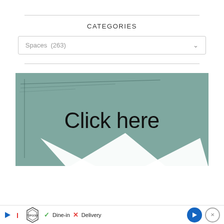CATEGORIES
Spaces  (263)
[Figure (illustration): A teal/sage green banner image with white diagonal swoosh shapes and large text reading 'Click here']
[Figure (other): Advertisement bar at the bottom: Topgolf logo, play and stop buttons, green checkmark Dine-in, red X Delivery, blue navigation arrow button, and close (X) button]